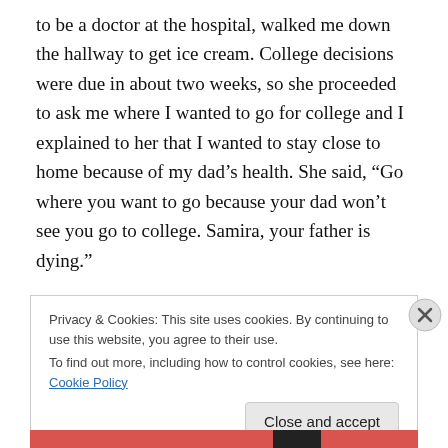to be a doctor at the hospital, walked me down the hallway to get ice cream. College decisions were due in about two weeks, so she proceeded to ask me where I wanted to go for college and I explained to her that I wanted to stay close to home because of my dad's health. She said, “Go where you want to go because your dad won’t see you go to college. Samira, your father is dying.”
The “c word” made me understand life in a whole new way. The tragic event led me to realize how much my dad sacrificed for his family. Cancer taught me what sick
Privacy & Cookies: This site uses cookies. By continuing to use this website, you agree to their use.
To find out more, including how to control cookies, see here: Cookie Policy